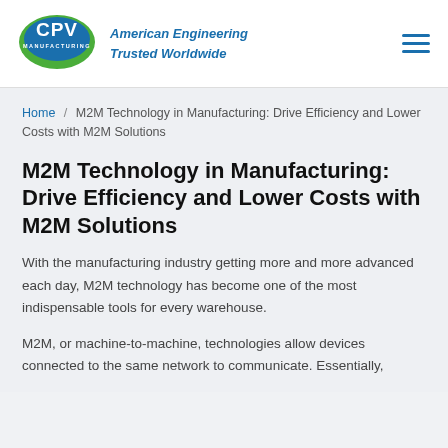[Figure (logo): CPV Manufacturing logo — green oval with white CPV letters, blue background, tagline 'American Engineering Trusted Worldwide' in bold italic blue]
American Engineering Trusted Worldwide
Home / M2M Technology in Manufacturing: Drive Efficiency and Lower Costs with M2M Solutions
M2M Technology in Manufacturing: Drive Efficiency and Lower Costs with M2M Solutions
With the manufacturing industry getting more and more advanced each day, M2M technology has become one of the most indispensable tools for every warehouse.
M2M, or machine-to-machine, technologies allow devices connected to the same network to communicate. Essentially,